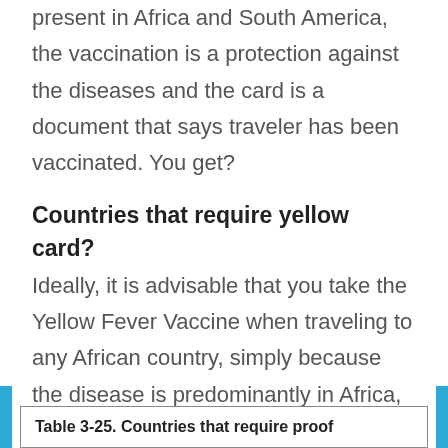present in Africa and South America, the vaccination is a protection against the diseases and the card is a document that says traveler has been vaccinated. You get?
Countries that require yellow card?
Ideally, it is advisable that you take the Yellow Fever Vaccine when traveling to any African country, simply because the disease is predominantly in Africa, so better to be safe than sorry. But not all African countries require the yellow card for you to traveling in or out.
Table 3-25. Countries that require proof